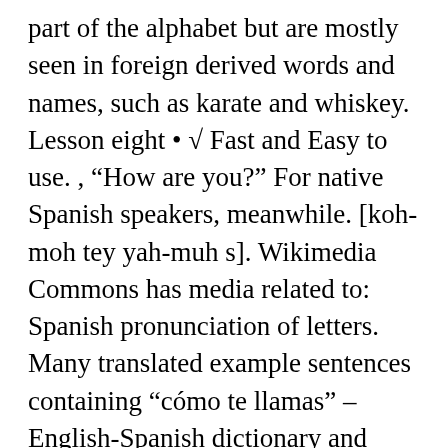part of the alphabet but are mostly seen in foreign derived words and names, such as karate and whiskey. Lesson eight • √ Fast and Easy to use. , "How are you?" For native Spanish speakers, meanwhile. [koh-moh tey yah-muh s]. Wikimedia Commons has media related to: Spanish pronunciation of letters. Many translated example sentences containing "cómo te llamas" – English-Spanish dictionary and search engine for English translations. is a a short and simple song to reinforce your beginning Spanish lesson for kids about names, or to bu Clear vocals and on screen text ensure students quickly acquire the phrases. Mugs, shirts, and other merchandise make use of this wordplay in